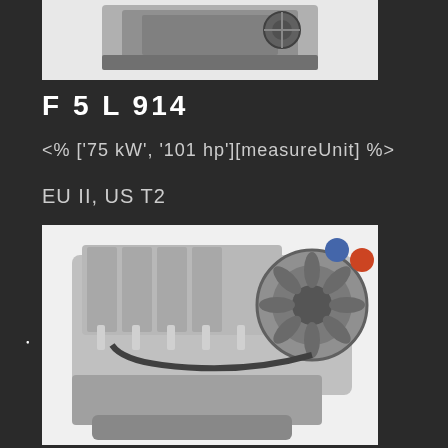[Figure (photo): Partial view of an air-cooled diesel engine (top portion), showing the upper section of engine components on a white background]
F 5 L 914
<% ['75 kW', '101 hp'][measureUnit] %>
EU II, US T2
[Figure (photo): Full view of an air-cooled diesel engine F5L914 showing the complete engine block with cooling fan, belt drive, injectors, and other components on a white background]